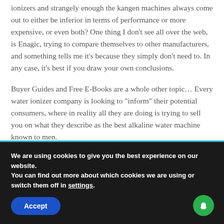ionizers and strangely enough the kangen machines always come out to either be inferior in terms of performance or more expensive, or even both? One thing I don't see all over the web, is Enagic, trying to compare themselves to other manufacturers, and something tells me it's because they simply don't need to. In any case, it's best if you draw your own conclusions.
Buyer Guides and Free E-Books are a whole other topic… Every water ionizer company is looking to "inform" their potential consumers, where in reality all they are doing is trying to sell you on what they describe as the best alkaline water machine known to men.
We are using cookies to give you the best experience on our website.
You can find out more about which cookies we are using or switch them off in settings.